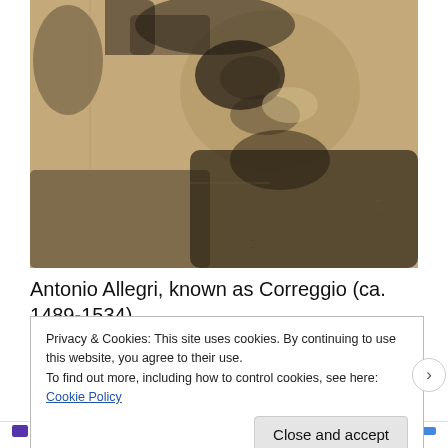[Figure (illustration): Close-up drawing/sketch of a face, likely a Renaissance-era artwork by Correggio. Black chalk on beige/tan paper showing a figure's face and upper body with expressive eye and soft features.]
Antonio Allegri, known as Correggio (ca. 1489-1534)
Privacy & Cookies: This site uses cookies. By continuing to use this website, you agree to their use.
To find out more, including how to control cookies, see here: Cookie Policy
Close and accept